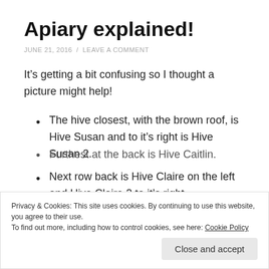Apiary explained!
JUNE 21, 2016 / LEAVE A COMMENT
It’s getting a bit confusing so I thought a picture might help!
The hive closest, with the brown roof, is Hive Susan and to it’s right is Hive Susan 2.
Next row back is Hive Claire on the left and Hive Claire 2 to it’s right.
Privacy & Cookies: This site uses cookies. By continuing to use this website, you agree to their use.
To find out more, including how to control cookies, see here: Cookie Policy
Furthest at the back is Hive Caitlin.